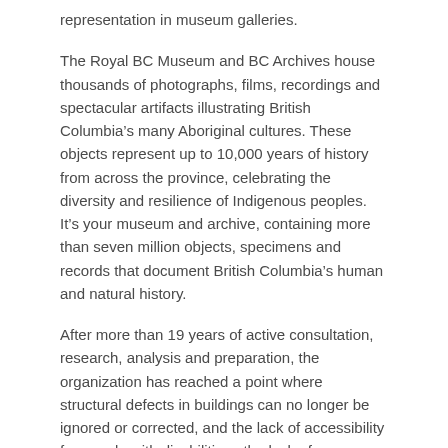representation in museum galleries.
The Royal BC Museum and BC Archives house thousands of photographs, films, recordings and spectacular artifacts illustrating British Columbia’s many Aboriginal cultures. These objects represent up to 10,000 years of history from across the province, celebrating the diversity and resilience of Indigenous peoples. It’s your museum and archive, containing more than seven million objects, specimens and records that document British Columbia’s human and natural history.
After more than 19 years of active consultation, research, analysis and preparation, the organization has reached a point where structural defects in buildings can no longer be ignored or corrected, and the lack of accessibility for people with disabilities , the lack of representation of indigenous peoples in the modern context and the need to include the voices and experiences of other unrepresented minority groups must be taken into account.